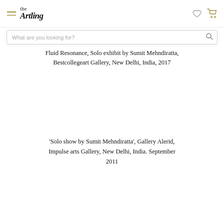the Artling
Fluid Resonance, Solo exhibit by Sumit Mehndiratta, Bestcollegeart Gallery, New Delhi, India, 2017
'Solo show by Sumit Mehndiratta', Gallery Alerid, Impulse arts Gallery, New Delhi, India. September 2011